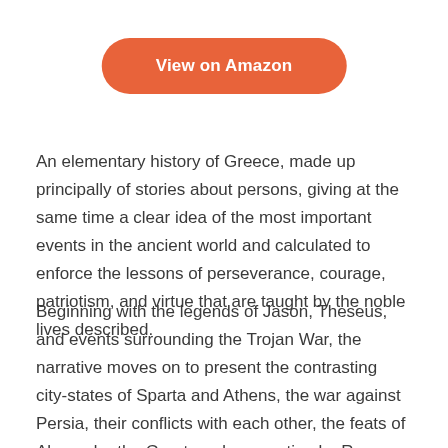[Figure (other): Orange rounded button labeled 'View on Amazon']
An elementary history of Greece, made up principally of stories about persons, giving at the same time a clear idea of the most important events in the ancient world and calculated to enforce the lessons of perseverance, courage, patriotism, and virtue that are taught by the noble lives described.
Beginning with the legends of Jason, Theseus, and events surrounding the Trojan War, the narrative moves on to present the contrasting city-states of Sparta and Athens, the war against Persia, their conflicts with each other, the feats of Alexander the Great, and annexation by Rome.